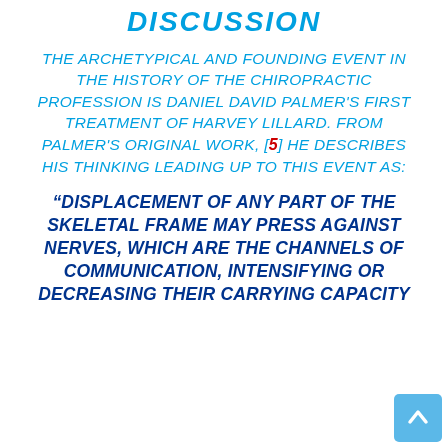DISCUSSION
THE ARCHETYPICAL AND FOUNDING EVENT IN THE HISTORY OF THE CHIROPRACTIC PROFESSION IS DANIEL DAVID PALMER'S FIRST TREATMENT OF HARVEY LILLARD. FROM PALMER'S ORIGINAL WORK, [5] HE DESCRIBES HIS THINKING LEADING UP TO THIS EVENT AS:
“DISPLACEMENT OF ANY PART OF THE SKELETAL FRAME MAY PRESS AGAINST NERVES, WHICH ARE THE CHANNELS OF COMMUNICATION, INTENSIFYING OR DECREASING THEIR CARRYING CAPACITY